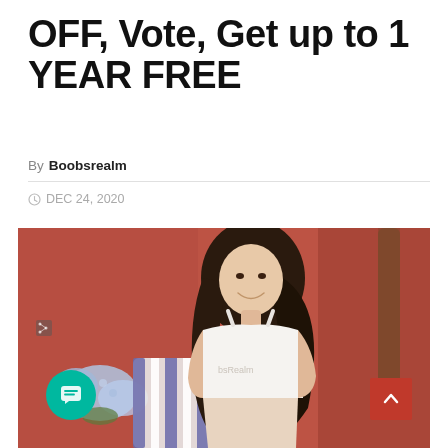OFF, Vote, Get up to 1 YEAR FREE
By Boobsrealm
DEC 24, 2020
[Figure (photo): Young woman with long dark hair smiling, wearing a white crop top with 'BoobsRealm' text, standing outdoors in front of a red wall with blue hydrangea flowers and a striped pillow.]